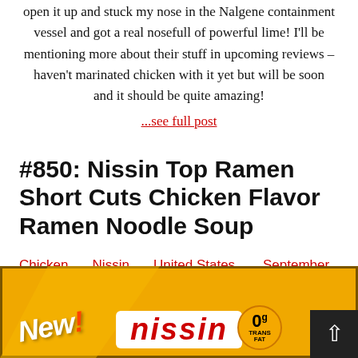open it up and stuck my nose in the Nalgene containment vessel and got a real nosefull of powerful lime! I'll be mentioning more about their stuff in upcoming reviews – haven't marinated chicken with it yet but will be soon and it should be quite amazing!
...see full post
#850: Nissin Top Ramen Short Cuts Chicken Flavor Ramen Noodle Soup
Chicken   Nissin   United States   September 2, 2012  /  Hans "The Ramen Rater" Lienesch
[Figure (photo): Nissin Top Ramen package — yellow packaging with 'New!' label, Nissin logo, and '0g Trans Fat' badge]